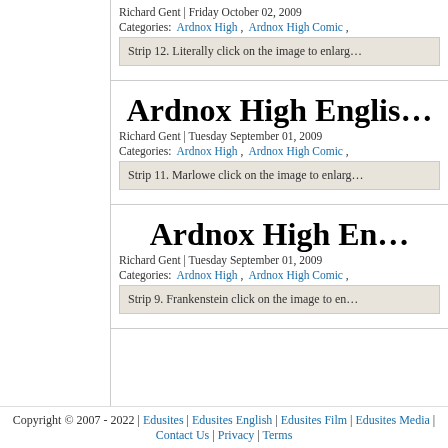Richard Gent | Friday October 02, 2009
Categories: Ardnox High , Ardnox High Comic ,
Strip 12. Literally click on the image to enlarg…
Ardnox High Englis…
Richard Gent | Tuesday September 01, 2009
Categories: Ardnox High , Ardnox High Comic ,
Strip 11. Marlowe click on the image to enlarg…
Ardnox High En…
Richard Gent | Tuesday September 01, 2009
Categories: Ardnox High , Ardnox High Comic ,
Strip 9. Frankenstein click on the image to en…
Copyright © 2007 - 2022 | Edusites | Edusites English | Edusites Film | Edusites Media | Contact Us | Privacy | Terms